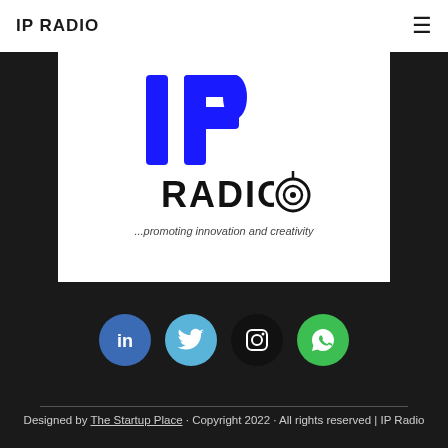IP RADIO
[Figure (logo): IP RADIO logo: large blue letters 'IP' above black text 'RADIO' with a circular radio-wave icon replacing the 'O', and tagline '...promoting innovation and creativity']
[Figure (infographic): Four social media icon buttons in circles: LinkedIn (blue), Twitter (light blue), Instagram (black), WhatsApp (green)]
Designed by The Startup Place · Copyright 2022 · All rights reserved | IP Radio